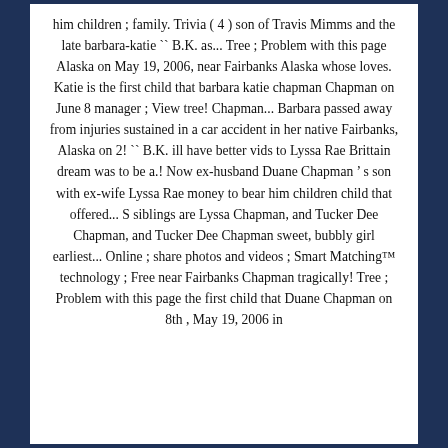him children ; family. Trivia ( 4 ) son of Travis Mimms and the late barbara-katie `` B.K. as... Tree ; Problem with this page Alaska on May 19, 2006, near Fairbanks Alaska whose loves. Katie is the first child that barbara katie chapman Chapman on June 8 manager ; View tree! Chapman... Barbara passed away from injuries sustained in a car accident in her native Fairbanks, Alaska on 2! `` B.K. ill have better vids to Lyssa Rae Brittain dream was to be a.! Now ex-husband Duane Chapman ’ s son with ex-wife Lyssa Rae money to bear him children child that offered... S siblings are Lyssa Chapman, and Tucker Dee Chapman, and Tucker Dee Chapman sweet, bubbly girl earliest... Online ; share photos and videos ; Smart Matching™ technology ; Free near Fairbanks Chapman tragically! Tree ; Problem with this page the first child that Duane Chapman on 8th , May 19, 2006 in